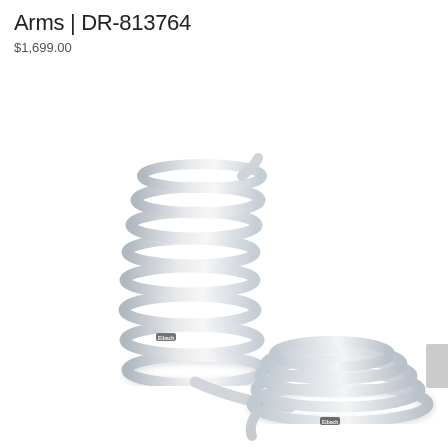Arms | DR-813764
$1,699.00
[Figure (photo): Two silver coil springs for automotive suspension. One spring is taller and more compressed (left), and the other is wider and flatter (right). Both are silver/grey metallic finish with a small brand logo mark. They are positioned overlapping each other diagonally on a white background.]